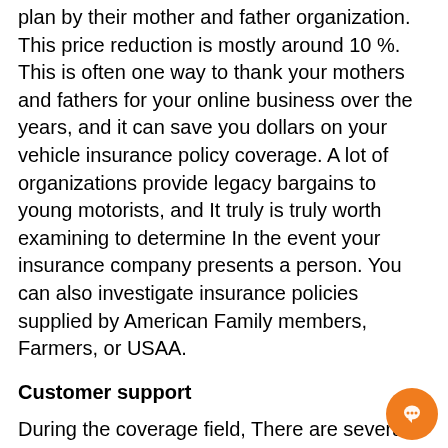plan by their mother and father organization. This price reduction is mostly around 10 %. This is often one way to thank your mothers and fathers for your online business over the years, and it can save you dollars on your vehicle insurance policy coverage. A lot of organizations provide legacy bargains to young motorists, and It truly is truly worth examining to determine In the event your insurance company presents a person. You can also investigate insurance policies supplied by American Family members, Farmers, or USAA.
Customer support
During the coverage field, There are several organizations that consistently excel at customer care. Esurance, as an example, scored 4 out of five during the J.D. Power rankings for customer support, a higher mark for an organization whose parent business won't. The company scored increased than its competitors in all other areas, like coverage offerings and prices, plus the top quality of support